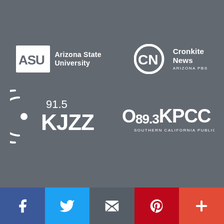[Figure (logo): Arizona State University logo, white on dark gray background]
[Figure (logo): Cronkite News Arizona PBS logo, white on dark gray background]
[Figure (logo): KJZZ 91.5 radio station logo, white on dark gray background]
[Figure (logo): O 89.3 KPCC Southern California Public Radio logo, white on dark gray background]
[Figure (infographic): Social media sharing footer bar with Facebook, Twitter, Email, Pinterest, and Plus buttons]